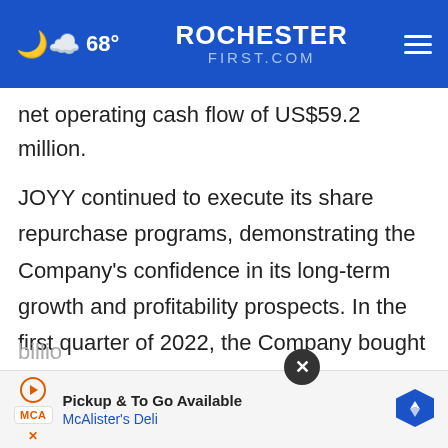68° ROCHESTERFIRST.COM
net operating cash flow of US$59.2 million.
JOYY continued to execute its share repurchase programs, demonstrating the Company's confidence in its long-term growth and profitability prospects. In the first quarter of 2022, the Company bought back US$80.2 million of its shares. As of March 31, 2022, the Company had repurchased a cumulative US$315.8 million of its shares, out of the $1.2 billio...
[Figure (screenshot): Advertisement overlay for McAlister's Deli - Pickup & To Go Available, with close button]